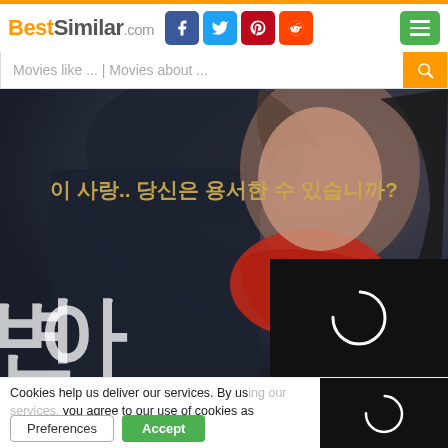BestSimilar.com — navigation header with social icons and menu
Movies like ... | Movies about ...
[Figure (photo): Korean movie poster showing a woman in a red scarf looking up with Korean text overlaid: '이 사랑.. 당신은 용서한 수 있습니까?' and '세상에서 가장 슬픈' with large Korean title characters and a loading spinner in the bottom right]
Cookies help us deliver our services. By us... you agree to our use of cookies as describe...
Preferences   Accept